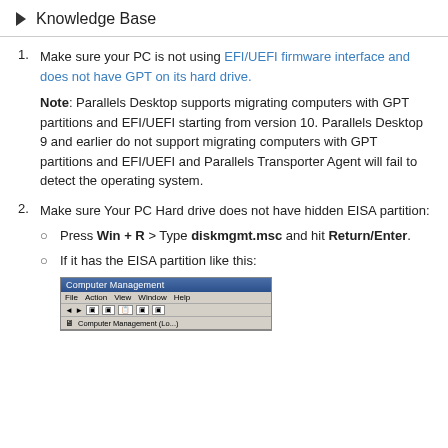Knowledge Base
Make sure your PC is not using EFI/UEFI firmware interface and does not have GPT on its hard drive.

Note: Parallels Desktop supports migrating computers with GPT partitions and EFI/UEFI starting from version 10. Parallels Desktop 9 and earlier do not support migrating computers with GPT partitions and EFI/UEFI and Parallels Transporter Agent will fail to detect the operating system.
Make sure Your PC Hard drive does not have hidden EISA partition:
Press Win + R > Type diskmgmt.msc and hit Return/Enter.
If it has the EISA partition like this:
[Figure (screenshot): Computer Management window screenshot showing title bar, menu bar with File, Action, View, Window, Help, toolbar icons, and a table header with columns: Volume, Layout, Type, File System, Status, Capacity, Free]